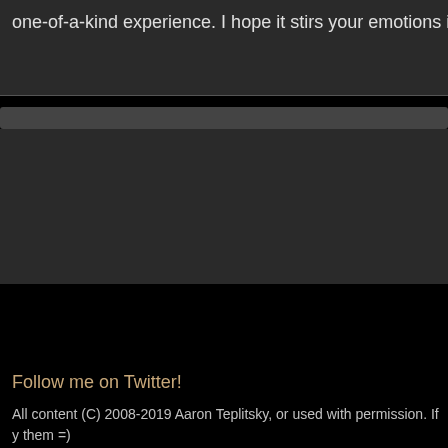one-of-a-kind experience. I hope it stirs your emotions in brand n
Main menu
Follow me on Twitter!
All content (C) 2008-2019 Aaron Teplitsky, or used with permission. If y them =)
View Privacy Policy